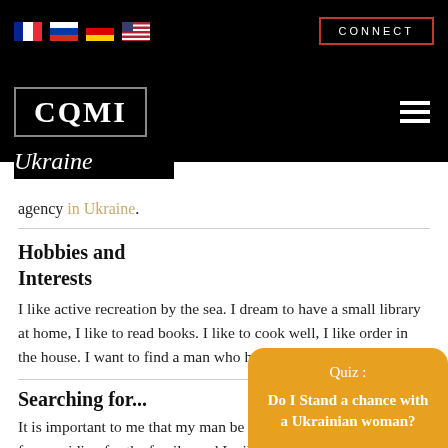CQMI Ukraine agency in Ukraine. [Flags: French, Russian, German, US] [CONNECT button]
agency in Ukraine.
Hobbies and Interests
I like active recreation by the sea. I dream to have a small library at home, I like to read books. I like to cook well, I like order in the house. I want to find a man who has good material security.
Searching for...
It is important to me that my man be able to... for providing for the family, and I will ins... of the family. It is important for a man to
[Figure (other): Quiz overlay widget: orange rounded box reading 'Quiz : Do I Stand a chance with a Ukrainian woman?']